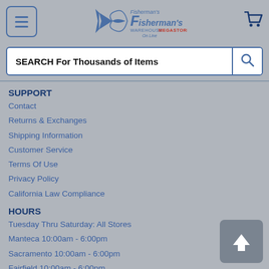Fisherman's Warehouse Megastore Online
SEARCH For Thousands of Items
SUPPORT
Contact
Returns & Exchanges
Shipping Information
Customer Service
Terms Of Use
Privacy Policy
California Law Compliance
HOURS
Tuesday Thru Saturday: All Stores
Manteca 10:00am - 6:00pm
Sacramento 10:00am - 6:00pm
Fairfield 10:00am - 6:00pm
Sunday:
Sacramento Only 10:00am - 4:00 pm